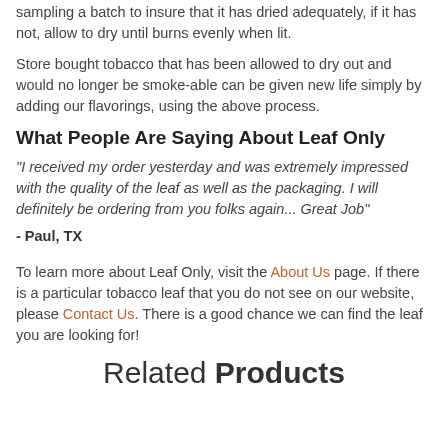sampling a batch to insure that it has dried adequately, if it has not, allow to dry until burns evenly when lit.
Store bought tobacco that has been allowed to dry out and would no longer be smoke-able can be given new life simply by adding our flavorings, using the above process.
What People Are Saying About Leaf Only
"I received my order yesterday and was extremely impressed with the quality of the leaf as well as the packaging. I will definitely be ordering from you folks again... Great Job"
- Paul, TX
To learn more about Leaf Only, visit the About Us page. If there is a particular tobacco leaf that you do not see on our website, please Contact Us. There is a good chance we can find the leaf you are looking for!
Related Products